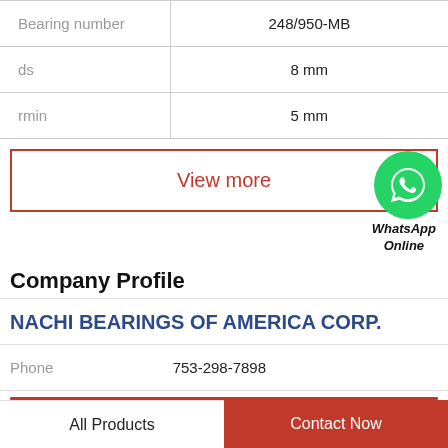|  |  |
| --- | --- |
| Bearing number | 248/950-MB |
| ds | 8 mm |
| rmin | 5 mm |
View more
[Figure (logo): WhatsApp green circle icon with phone handset, labeled 'WhatsApp Online']
Company Profile
NACHI BEARINGS OF AMERICA CORP.
| Phone | 753-298-7898 |
| --- | --- |
All Products
Contact Now